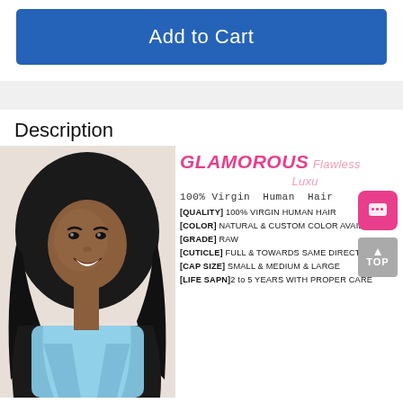Add to Cart
Description
[Figure (photo): Young woman with long wavy black hair wearing a light blue top, modeling hair product]
GLAMOROUS Flawless Luxu
100% Virgin Human Hair
[QUALITY] 100% VIRGIN HUMAN HAIR
[COLOR] NATURAL & CUSTOM COLOR AVAILBLE
[GRADE] RAW
[CUTICLE] FULL & TOWARDS SAME DIRECTION
[CAP SIZE] SMALL & MEDIUM & LARGE
[LIFE SAPN] 2 to 5 YEARS WITH PROPER CARE